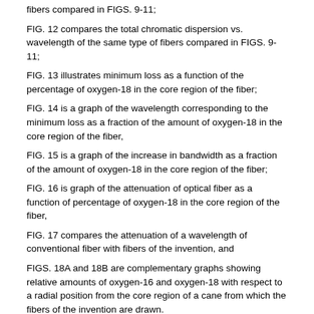fibers compared in FIGS. 9-11;
FIG. 12 compares the total chromatic dispersion vs. wavelength of the same type of fibers compared in FIGS. 9-11;
FIG. 13 illustrates minimum loss as a function of the percentage of oxygen-18 in the core region of the fiber;
FIG. 14 is a graph of the wavelength corresponding to the minimum loss as a fraction of the amount of oxygen-18 in the core region of the fiber,
FIG. 15 is a graph of the increase in bandwidth as a fraction of the amount of oxygen-18 in the core region of the fiber;
FIG. 16 is graph of the attenuation of optical fiber as a function of percentage of oxygen-18 in the core region of the fiber,
FIG. 17 compares the attenuation of a wavelength of conventional fiber with fibers of the invention, and
FIGS. 18A and 18B are complementary graphs showing relative amounts of oxygen-16 and oxygen-18 with respect to a radial position from the core region of a cane from which the fibers of the invention are drawn.
FIG. 19 compares measurements of the Raman cross-section of experimental single-mode optical fibers containing either essentially 100 percent oxygen-16 or essentially 100 percent oxygen-18.